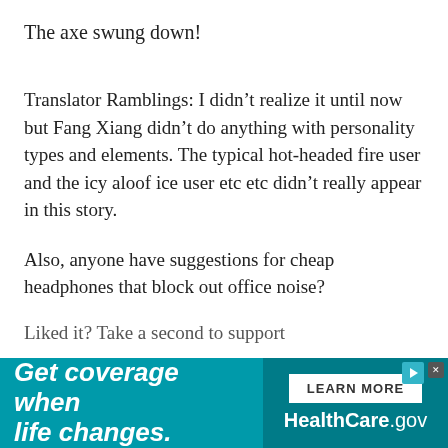The axe swung down!
Translator Ramblings: I didn’t realize it until now but Fang Xiang didn’t do anything with personality types and elements. The typical hot-headed fire user and the icy aloof ice user etc etc didn’t really appear in this story.
Also, anyone have suggestions for cheap headphones that block out office noise?
Liked it? Take a second to support
[Figure (other): HealthCare.gov advertisement banner: teal background with bold italic white text 'Get coverage when life changes.' on the left, and on the right a white 'LEARN MORE' button above 'HealthCare.gov' in white text on darker teal background, with a close button and play icon in the top right corner.]